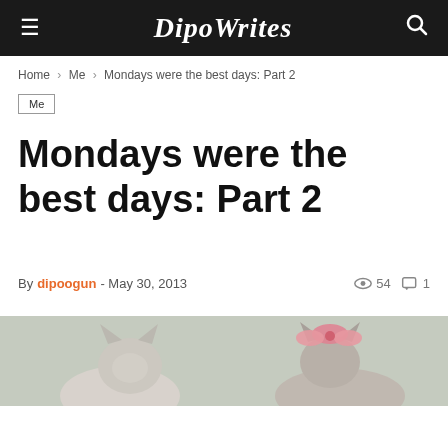DipoWrites
Home › Me › Mondays were the best days: Part 2
Me
Mondays were the best days: Part 2
By dipoogun - May 30, 2013   54  1
[Figure (photo): Hero image showing two cats, one light-colored on the left and one wearing a pink bow on the right, against a light grayish background]